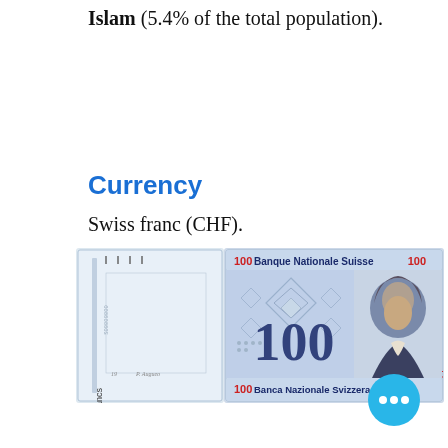Islam (5.4% of the total population).
Currency
Swiss franc (CHF).
[Figure (photo): A Swiss 100 franc banknote (CHF). The front shows '100 Banque Nationale Suisse' in blue text at the top, a large '100' numeral in the center, and a portrait of a man on the right. Side text reads 'Cento Franchi'. The back (left portion) shows '100 Cent Francs' vertically along the side and signatures at the bottom.]